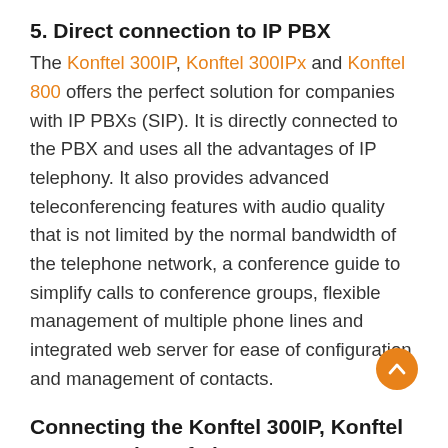5. Direct connection to IP PBX
The Konftel 300IP, Konftel 300IPx and Konftel 800 offers the perfect solution for companies with IP PBXs (SIP). It is directly connected to the PBX and uses all the advantages of IP telephony. It also provides advanced teleconferencing features with audio quality that is not limited by the normal bandwidth of the telephone network, a conference guide to simplify calls to conference groups, flexible management of multiple phone lines and integrated web server for ease of configuration and management of contacts.
Connecting the Konftel 300IP, Konftel 300IPx and Konftel 800